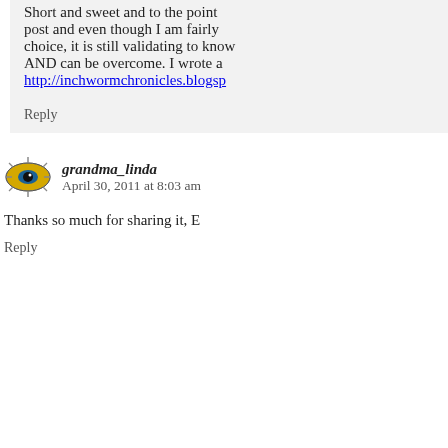Short and sweet and to the point post and even though I am fairly choice, it is still validating to know AND can be overcome. I wrote a http://inchwormchronicles.blogsp
Reply
8. grandma_linda says: April 30, 2011 at 8:03 am
Thanks so much for sharing it, E
Reply
9. Stones Cry Out - If they keep s October 27, 2011 at 10:41 am
[…] of “sheltering” your child from of the points in this article, Here’s world” of the school institution ev
Reply
Leave a Reply to grandma_linda
Name